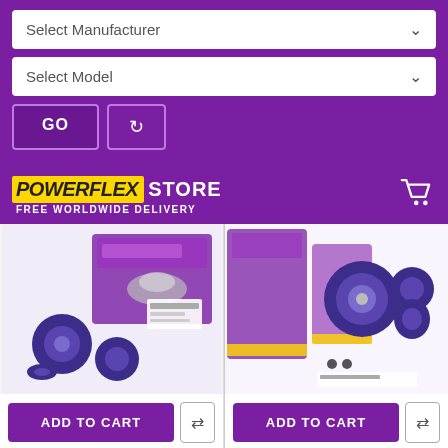Select Manufacturer
Select Model
GO
[Figure (logo): Powerflex Store logo with yellow italic Powerflex text and white STORE text, with FREE WORLDWIDE DELIVERY subtitle]
[Figure (photo): Powerflex front wishbone bushes product - blue polyurethane bushes with purple packaging box]
[Figure (photo): Powerflex front wishbone bushes product - blue polyurethane bushes with purple packaging]
ADD TO CART
ADD TO CART
Powerflex Front Wishbone
Powerflex Front Wishbone